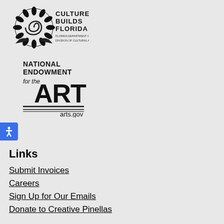[Figure (logo): Culture Builds Florida - Florida Department of State, Division of Cultural Affairs logo with decorative swirl/flower graphic]
[Figure (logo): National Endowment for the Arts logo with arts.gov text]
Links
Submit Invoices
Careers
Sign Up for Our Emails
Donate to Creative Pinellas